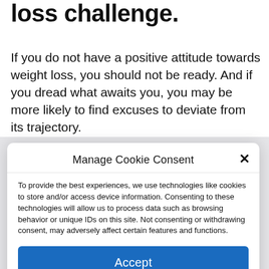loss challenge.
If you do not have a positive attitude towards weight loss, you should not be ready. And if you dread what awaits you, you may be more likely to find excuses to deviate from its trajectory.
Manage Cookie Consent
To provide the best experiences, we use technologies like cookies to store and/or access device information. Consenting to these technologies will allow us to process data such as browsing behavior or unique IDs on this site. Not consenting or withdrawing consent, may adversely affect certain features and functions.
Accept
Cookie Policy